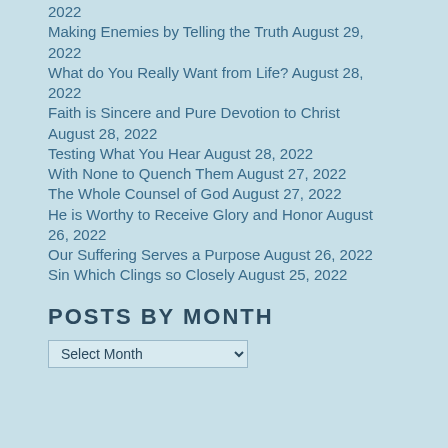2022
Making Enemies by Telling the Truth August 29, 2022
What do You Really Want from Life? August 28, 2022
Faith is Sincere and Pure Devotion to Christ August 28, 2022
Testing What You Hear August 28, 2022
With None to Quench Them August 27, 2022
The Whole Counsel of God August 27, 2022
He is Worthy to Receive Glory and Honor August 26, 2022
Our Suffering Serves a Purpose August 26, 2022
Sin Which Clings so Closely August 25, 2022
POSTS BY MONTH
Select Month